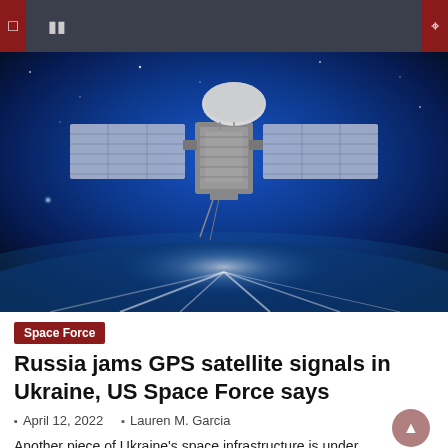Navigation bar with menu icon and search icon
[Figure (photo): A GPS satellite in orbit above Earth, shown against a deep blue space background with Earth's glowing horizon visible below. The satellite has large solar panel arrays extending from both sides and a large dish antenna on top.]
Space Force
Russia jams GPS satellite signals in Ukraine, US Space Force says
April 12, 2022   Lauren M. Garcia
Another piece of Ukraine's space infrastructure is under